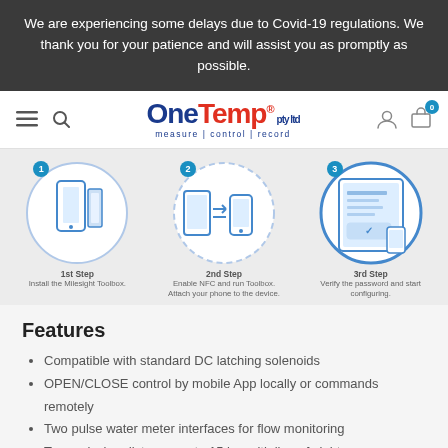We are experiencing some delays due to Covid-19 regulations. We thank you for your patience and will assist you as promptly as possible.
[Figure (logo): OneTemp pty ltd logo with tagline measure | control | record]
[Figure (infographic): Three-step NFC setup process: 1st Step Install the Milesight Toolbox, 2nd Step Enable NFC and run Toolbox, Attach your phone to the device, 3rd Step Verify the password and start configuring.]
Features
Compatible with standard DC latching solenoids
OPEN/CLOSE control by mobile App locally or commands remotely
Two pulse water meter interfaces for flow monitoring
Transmission distance up to 15 km with line of sight